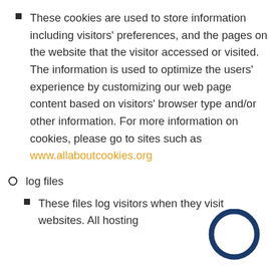These cookies are used to store information including visitors' preferences, and the pages on the website that the visitor accessed or visited. The information is used to optimize the users' experience by customizing our web page content based on visitors' browser type and/or other information. For more information on cookies, please go to sites such as www.allaboutcookies.org
log files
These files log visitors when they visit websites. All hosting...